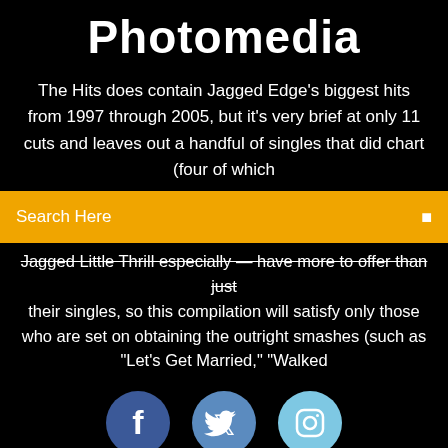Photomedia
The Hits does contain Jagged Edge's biggest hits from 1997 through 2005, but it's very brief at only 11 cuts and leaves out a handful of singles that did chart (four of which
Search Here
Jagged Little Thrill especially — have more to offer than just their singles, so this compilation will satisfy only those who are set on obtaining the outright smashes (such as "Let's Get Married," "Walked
[Figure (illustration): Three social media icon circles: Facebook (dark blue), Twitter (medium blue), Instagram (light blue)]
Download Girl Academy Genie Vibros 5 Torrent